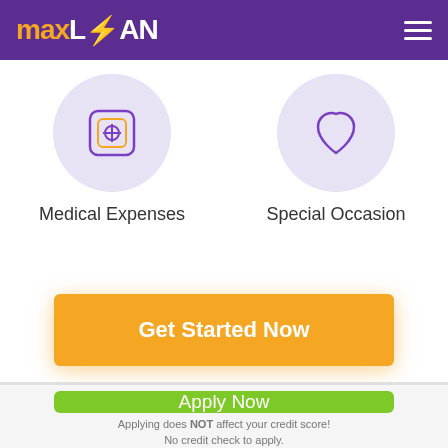MAXLOAN
[Figure (illustration): Two circular icons on light purple backgrounds: left icon shows a medical/pill box symbol, right icon shows a shield/heart symbol]
Medical Expenses
Special Occasion
Get Started Now
Apply Now
Applying does NOT affect your credit score! No credit check to apply.